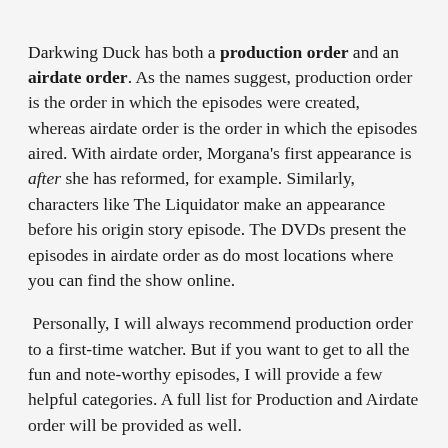Darkwing Duck has both a production order and an airdate order. As the names suggest, production order is the order in which the episodes were created, whereas airdate order is the order in which the episodes aired. With airdate order, Morgana's first appearance is after she has reformed, for example. Similarly, characters like The Liquidator make an appearance before his origin story episode. The DVDs present the episodes in airdate order as do most locations where you can find the show online.
Personally, I will always recommend production order to a first-time watcher. But if you want to get to all the fun and note-worthy episodes, I will provide a few helpful categories. A full list for Production and Airdate order will be provided as well.
It should be noted that while the episodes are often divided into seasons, there were no true seasons for the series. "Season 1" was a collection of syndicated episodes that